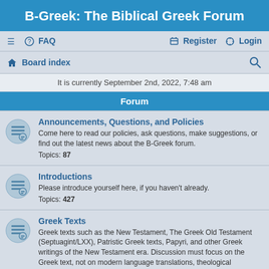B-Greek: The Biblical Greek Forum
≡  FAQ    Register  Login
Board index
It is currently September 2nd, 2022, 7:48 am
Forum
Announcements, Questions, and Policies - Come here to read our policies, ask questions, make suggestions, or find out the latest news about the B-Greek forum. Topics: 87
Introductions - Please introduce yourself here, if you haven't already. Topics: 427
Greek Texts - Greek texts such as the New Testament, The Greek Old Testament (Septuagint/LXX), Patristic Greek texts, Papyri, and other Greek writings of the New Testament era. Discussion must focus on the Greek text, not on modern language translations, theological controversies, or textual criticism. Topics: 1205
Greek Language and Linguistics - Biblical Greek morphology and syntax, aspect, linguistics, discourse analysis, and related topics. Topics: 877
Teaching and Learning Greek